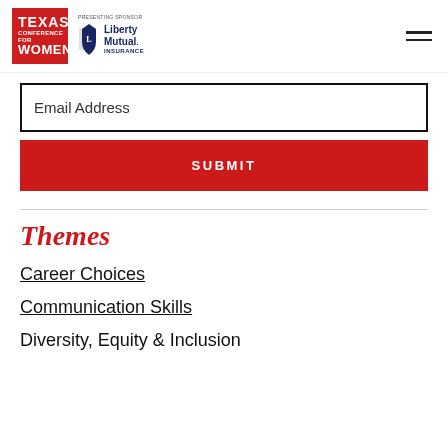[Figure (logo): Texas Conference for Women logo (red square with white text) and Liberty Mutual Insurance presenting sponsor logo]
Email Address
SUBMIT
Themes
Career Choices
Communication Skills
Diversity, Equity & Inclusion